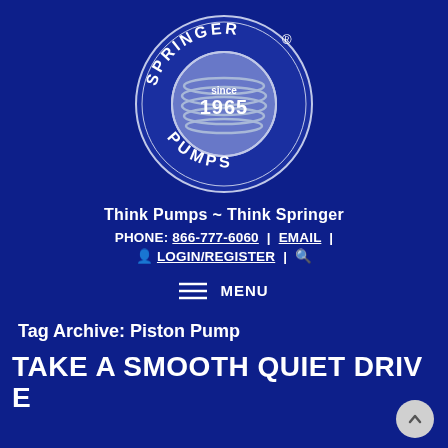[Figure (logo): Springer Pumps circular logo with blue and silver colors, 'SPRINGER' around the top arc, 'PUMPS' around the bottom arc, 'since 1965' in the center globe, registered trademark symbol at top right]
Think Pumps ~ Think Springer
PHONE: 866-777-6060  |  EMAIL  |
LOGIN/REGISTER  |  🔍
≡ MENU
Tag Archive: Piston Pump
TAKE A SMOOTH QUIET DRIVE